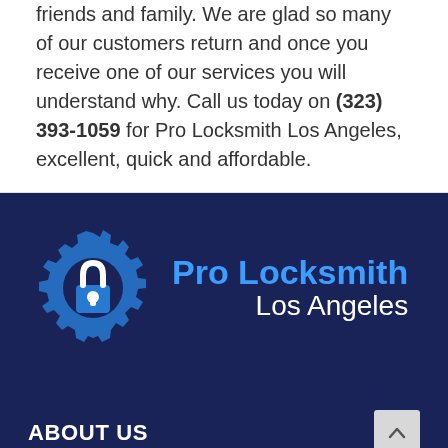friends and family. We are glad so many of our customers return and once you receive one of our services you will understand why. Call us today on (323) 393-1059 for Pro Locksmith Los Angeles, excellent, quick and affordable.
[Figure (logo): Pro Locksmith Los Angeles logo — a blue gear with a padlock icon, beside bold blue text 'Pro Locksmith' and white text 'Los Angeles', on a dark navy background.]
ABOUT US